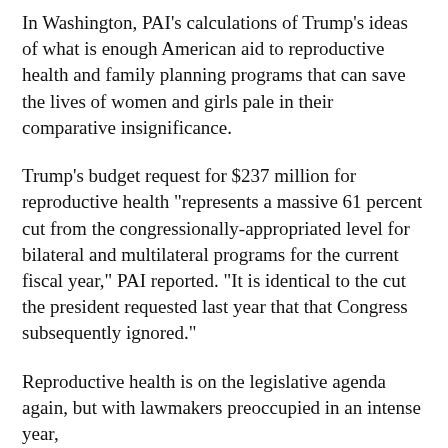In Washington, PAI's calculations of Trump's ideas of what is enough American aid to reproductive health and family planning programs that can save the lives of women and girls pale in their comparative insignificance.
Trump's budget request for $237 million for reproductive health "represents a massive 61 percent cut from the congressionally-appropriated level for bilateral and multilateral programs for the current fiscal year," PAI reported. "It is identical to the cut the president requested last year that that Congress subsequently ignored."
Reproductive health is on the legislative agenda again, but with lawmakers preoccupied in an intense year,
[Figure (other): Social media sharing buttons: Facebook, Twitter, LinkedIn, Telegram]